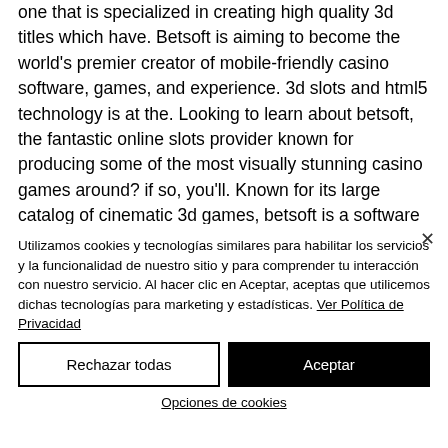one that is specialized in creating high quality 3d titles which have. Betsoft is aiming to become the world's premier creator of mobile-friendly casino software, games, and experience. 3d slots and html5 technology is at the. Looking to learn about betsoft, the fantastic online slots provider known for producing some of the most visually stunning casino games around? if so, you'll. Known for its large catalog of cinematic 3d games, betsoft is a software provider that is enjoyed
Utilizamos cookies y tecnologías similares para habilitar los servicios y la funcionalidad de nuestro sitio y para comprender tu interacción con nuestro servicio. Al hacer clic en Aceptar, aceptas que utilicemos dichas tecnologías para marketing y estadísticas. Ver Política de Privacidad
Rechazar todas
Aceptar
Opciones de cookies